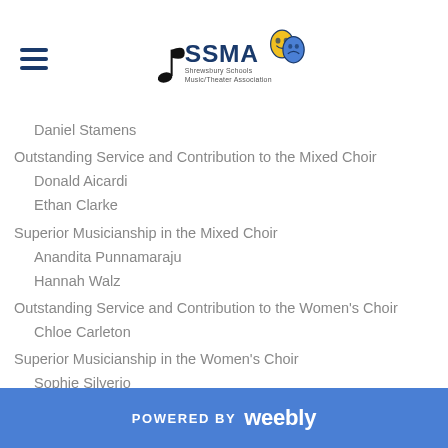SSMA Shrewsbury Schools Music/Theater Association
Daniel Stamens
Outstanding Service and Contribution to the Mixed Choir
Donald Aicardi
Ethan Clarke
Superior Musicianship in the Mixed Choir
Anandita Punnamaraju
Hannah Walz
Outstanding Service and Contribution to the Women's Choir
Chloe Carleton
Superior Musicianship in the Women's Choir
Sophie Silverio
Outstanding Service and Contribution to the A Cappella Choir
Erin Matozel
Michaela Kelly
Superior Musicianship in the A Cappella Choir
John Barrett
POWERED BY weebly